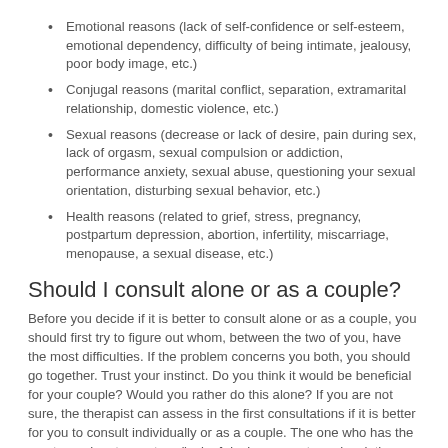Emotional reasons (lack of self-confidence or self-esteem, emotional dependency, difficulty of being intimate, jealousy, poor body image, etc.)
Conjugal reasons (marital conflict, separation, extramarital relationship, domestic violence, etc.)
Sexual reasons (decrease or lack of desire, pain during sex, lack of orgasm, sexual compulsion or addiction, performance anxiety, sexual abuse, questioning your sexual orientation, disturbing sexual behavior, etc.)
Health reasons (related to grief, stress, pregnancy, postpartum depression, abortion, infertility, miscarriage, menopause, a sexual disease, etc.)
Should I consult alone or as a couple?
Before you decide if it is better to consult alone or as a couple, you should first try to figure out whom, between the two of you, have the most difficulties. If the problem concerns you both, you should go together. Trust your instinct. Do you think it would be beneficial for your couple? Would you rather do this alone? If you are not sure, the therapist can assess in the first consultations if it is better for you to consult individually or as a couple. The one who has the most prominent symptom (lack of desire, premature ejaculation, etc.) is not necessarily the one who finds it most difficult. Sometimes, the partner has a hard time living with the other's symptoms and needs to consult to learn how to live with this situation. You must evaluate who really needs the change and the advice.